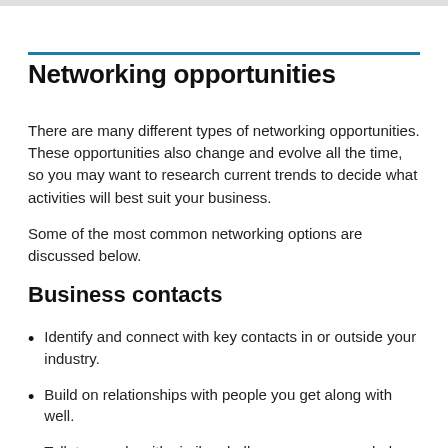Networking opportunities
There are many different types of networking opportunities. These opportunities also change and evolve all the time, so you may want to research current trends to decide what activities will best suit your business.
Some of the most common networking options are discussed below.
Business contacts
Identify and connect with key contacts in or outside your industry.
Build on relationships with people you get along with well.
Talk to people with similar challenges so you can help